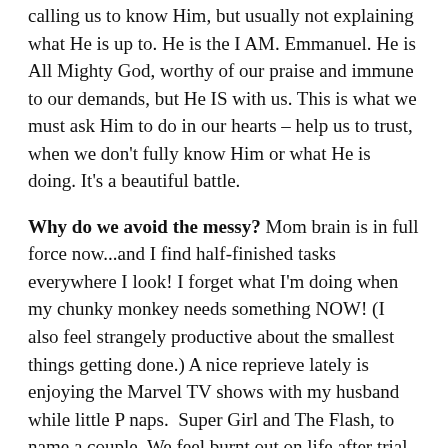calling us to know Him, but usually not explaining what He is up to. He is the I AM. Emmanuel. He is All Mighty God, worthy of our praise and immune to our demands, but He IS with us. This is what we must ask Him to do in our hearts – help us to trust, when we don't fully know Him or what He is doing. It's a beautiful battle.
Why do we avoid the messy? Mom brain is in full force now...and I find half-finished tasks everywhere I look! I forget what I'm doing when my chunky monkey needs something NOW! (I also feel strangely productive about the smallest things getting done.) A nice reprieve lately is enjoying the Marvel TV shows with my husband while little P naps.  Super Girl and The Flash, to name a couple. We feel burnt out on life after trial upon trial, and it's nice to turn off your brain so you don't keep thinking. My husband has always been able to do this